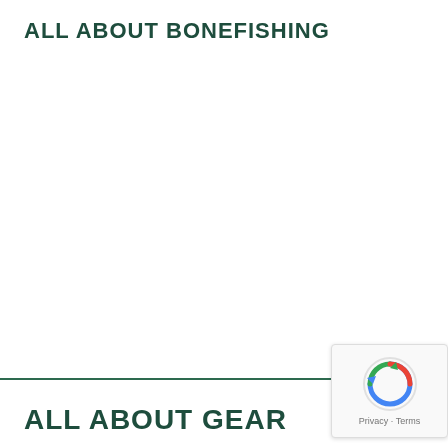ALL ABOUT BONEFISHING
ALL ABOUT GEAR